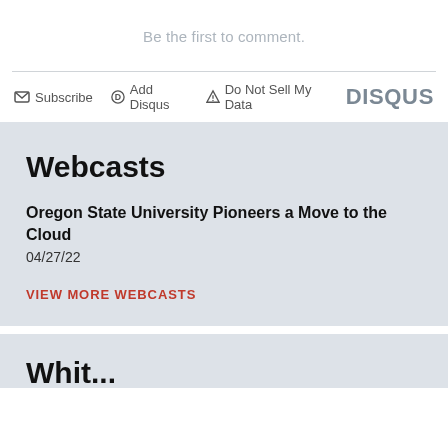Be the first to comment.
Subscribe   Add Disqus   Do Not Sell My Data   DISQUS
Webcasts
Oregon State University Pioneers a Move to the Cloud
04/27/22
VIEW MORE WEBCASTS
Whit...